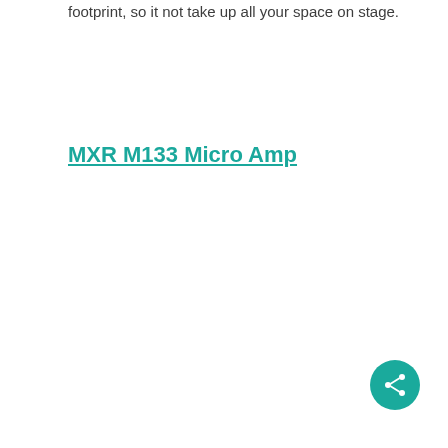footprint, so it not take up all your space on stage.
MXR M133 Micro Amp
[Figure (other): Teal circular share button icon in the bottom-right corner]